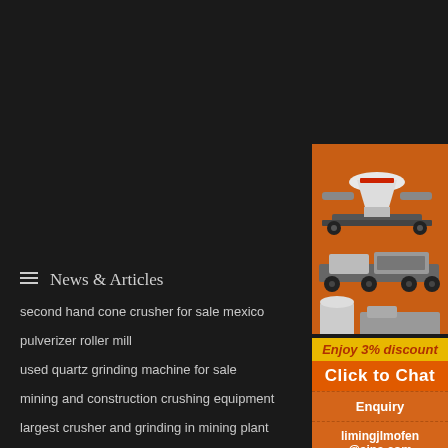News & Articles
second hand cone crusher for sale mexico
pulverizer roller mill
used quartz grinding machine for sale
mining and construction crushing equipment
largest crusher and grinding in mining plant
granite crasher korean made
[Figure (illustration): Mining and crushing equipment machines on orange background — cone crusher, mobile crusher units, grinding mill]
Enjoy 3% discount
Click to Chat
Enquiry
limingjlmofen@sina.com